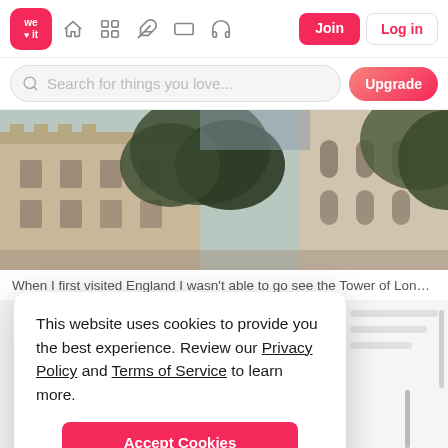[Figure (screenshot): We Heart It website navigation bar with logo, home, grid, feather, rectangle, headphone icons, Join button and Log in button]
[Figure (screenshot): Search bar with magnifying glass icon, placeholder text 'Search for things you love...' and pink Upgrade button]
[Figure (photo): Photo of the Tower of London castle exterior with stone walls, arched windows, and trees]
When I first visited England I wasn't able to go see the Tower of London so this
This website uses cookies to provide you the best experience. Review our Privacy Policy and Terms of Service to learn more.
Accept Cookies
Only users 16 years or older may use We Heart It.
[Figure (illustration): Warning triangle symbol (black triangle outline with exclamation mark inside)]